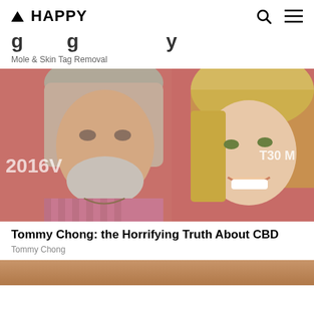▲ HAPPY
Mole & Skin Tag Removal
[Figure (photo): Tommy Chong and a blonde woman posing together at an event with a pink/red background showing partial text backdrop]
Tommy Chong: the Horrifying Truth About CBD
Tommy Chong
[Figure (photo): Partial image of skin, cropped at bottom of page]